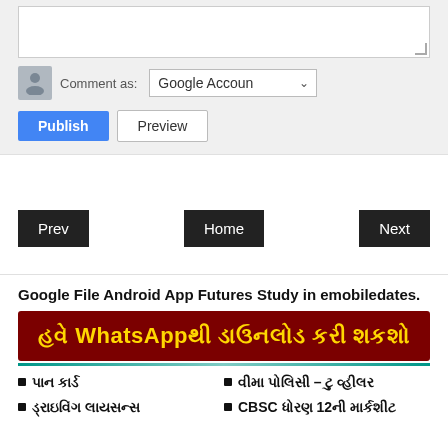[Figure (screenshot): Comment form with textarea, Comment as Google Account dropdown, Publish and Preview buttons]
[Figure (screenshot): Navigation buttons: Prev, Home, Next]
Google File Android App Futures Study in emobiledates.
[Figure (infographic): Dark red banner with yellow bold Gujarati text: હવે WhatsAppથી ડાઉનલોડ કરી શકશો]
પાન કાર્ડ
ડ્રાઇવિંગ લાયસન્સ
વીમા પોલિસી – ટુ વ્હીલર
CBSC ધોરણ 12ની માર્કશીટ